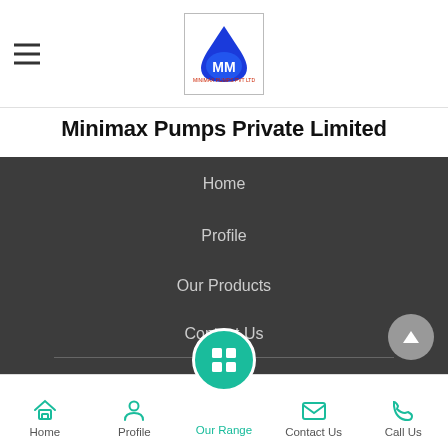[Figure (logo): Minimax Pumps logo: blue water drop with MM letters inside, red text around bottom]
Minimax Pumps Private Limited
Home
Profile
Our Products
Contact Us
Share via
© Minimax Pumps Private Limited
Home | Profile | Our Range | Contact Us | Call Us